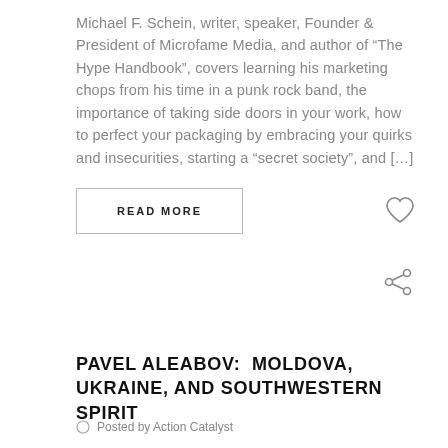Michael F. Schein, writer, speaker, Founder & President of Microfame Media, and author of “The Hype Handbook”, covers learning his marketing chops from his time in a punk rock band, the importance of taking side doors in your work, how to perfect your packaging by embracing your quirks and insecurities, starting a “secret society”, and […]
READ MORE
PAVEL ALEABOV:  MOLDOVA, UKRAINE, AND SOUTHWESTERN SPIRIT
Posted by Action Catalyst